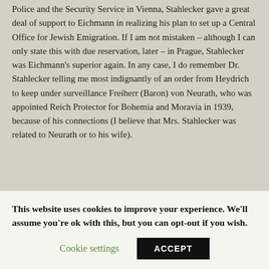Police and the Security Service in Vienna, Stahlecker gave a great deal of support to Eichmann in realizing his plan to set up a Central Office for Jewish Emigration. If I am not mistaken – although I can only state this with due reservation, later – in Prague, Stahlecker was Eichmann's superior again. In any case, I do remember Dr. Stahlecker telling me most indignantly of an order from Heydrich to keep under surveillance Freiherr (Baron) von Neurath, who was appointed Reich Protector for Bohemia and Moravia in 1939, because of his connections (I believe that Mrs. Stahlecker was related to Neurath or to his wife).
This website uses cookies to improve your experience. We'll assume you're ok with this, but you can opt-out if you wish.
Cookie settings | ACCEPT